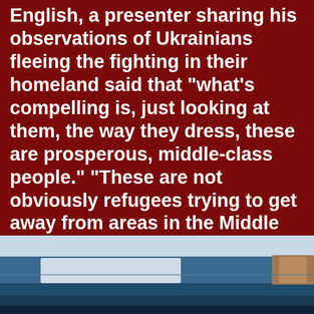English, a presenter sharing his observations of Ukrainians fleeing the fighting in their homeland said that "what's compelling is, just looking at them, the way they dress, these are prosperous, middle-class people." “These are not obviously refugees trying to get away from areas in the Middle East that are still in a big state of war. These are not people trying to get away from areas in North Africa. They look like any European families that you would live next door to.”
[Figure (photo): A partial photo visible at the bottom of the page, showing what appears to be a vehicle or train with blue and silver/white coloring, set against the dark red background.]